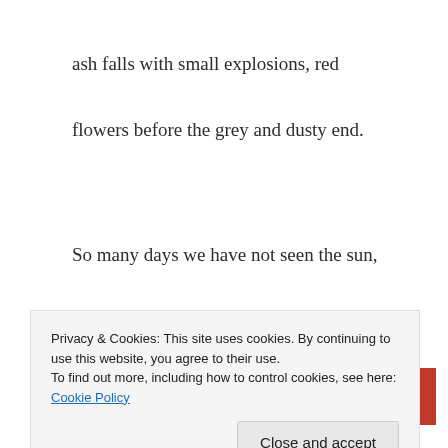ash falls with small explosions, red
flowers before the grey and dusty end.
So many days we have not seen the sun,
and the sky moves sluggish and slow,
[Figure (screenshot): Red banner with a dark 'Start reading' button in the center]
Privacy & Cookies: This site uses cookies. By continuing to use this website, you agree to their use.
To find out more, including how to control cookies, see here: Cookie Policy
Close and accept